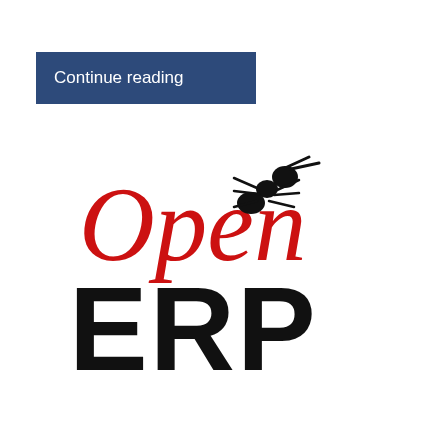Continue reading
[Figure (logo): OpenERP logo with red italic 'Open' text, black ant illustration on top right, and bold black 'ERP' text below]